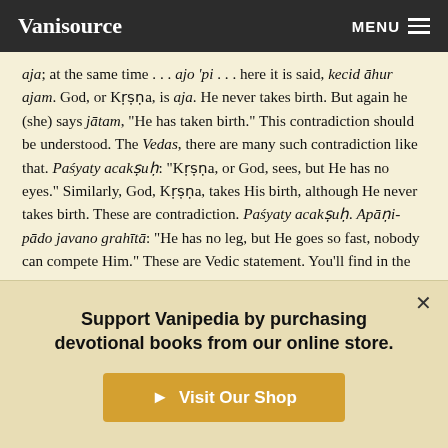Vanisource  MENU
aja; at the same time . . . ajo 'pi . . . here it is said, kecid āhur ajam. God, or Kṛṣṇa, is aja. He never takes birth. But again he (she) says jātam, "He has taken birth." This contradiction should be understood. The Vedas, there are many such contradiction like that. Paśyaty acakṣuḥ: "Kṛṣṇa, or God, sees, but He has no eyes." Similarly, God, Kṛṣṇa, takes His birth, although He never takes birth. These are contradiction. Paśyaty acakṣuḥ. Apāṇi-pādo javano grahītā: "He has no leg, but He goes so fast, nobody can compete Him." These are Vedic statement. You'll find in the Upaniṣads, apāṇi-pāda: "He has no leg, He has no
Support Vanipedia by purchasing devotional books from our online store.
Visit Our Shop